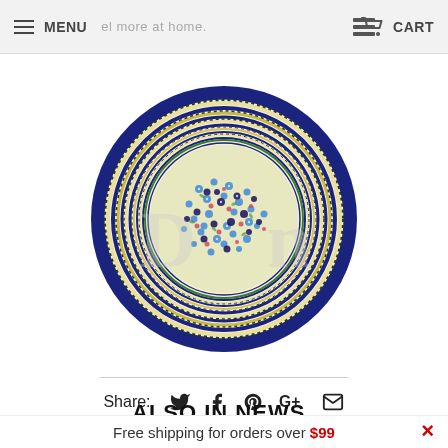MENU | feel more at home. | CART
[Figure (photo): Circular decorative Polish pottery plate viewed from above. Deep blue rim with concentric zigzag/rope patterned border rings in cream and dark blue. Center filled with small blue, pink, and red flowers scattered densely on a creamy background with green leaves. Watermark text 'D...n' (brand name) overlaid in light grey.]
Share: [Twitter] [Facebook] [Pinterest] [Google+] [Email]
ALSO IN NEWS
Free shipping for orders over $99